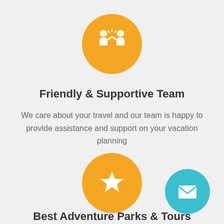[Figure (illustration): Orange circle icon with two people high-fiving silhouette in white]
Friendly & Supportive Team
We care about your travel and our team is happy to provide assistance and support on your vacation planning
[Figure (illustration): Orange circle icon with a white star]
[Figure (illustration): Teal circle icon with a white envelope/mail symbol]
Best Adventure Parks & Tours